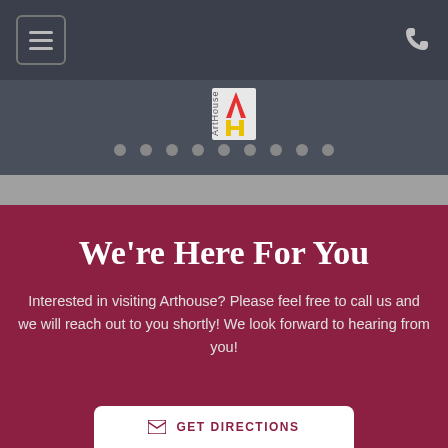[Figure (screenshot): Navigation bar with hamburger menu icon on left and phone icon on right, dark background]
[Figure (logo): ArtHouse logo with stylized A and H, vertical text 'ArtHouse', with navigation dots row below]
We're Here For You
Interested in visiting Arthouse? Please feel free to call us and we will reach out to you shortly! We look forward to hearing from you!
GET DIRECTIONS